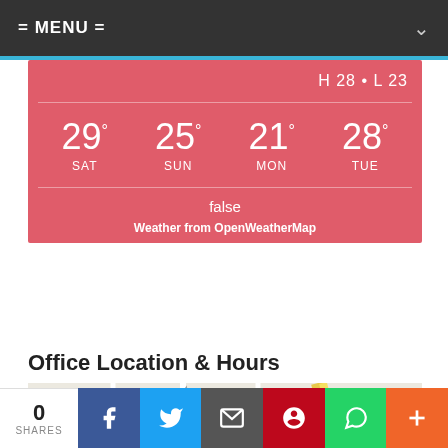= MENU =
H 28 • L 23
29° SAT
25° SUN
21° MON
28° TUE
false
Weather from OpenWeatherMap
Office Location & Hours
[Figure (map): Google Maps screenshot showing Cooksville GO station area with Alnejmah Fine Foods, L Kennedy Secondary School, Confederate street, and surrounding roads visible.]
0 SHARES